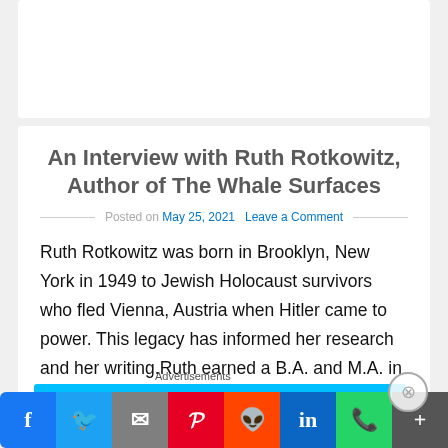An Interview with Ruth Rotkowitz, Author of The Whale Surfaces
Posted on May 25, 2021   Leave a Comment
Ruth Rotkowitz was born in Brooklyn, New York in 1949 to Jewish Holocaust survivors who fled Vienna, Austria when Hitler came to power. This legacy has informed her research and her writing.Ruth earned a B.A. and M.A. in English and has taught on both the college and high school levels. in New York and New [...]
Advertisements